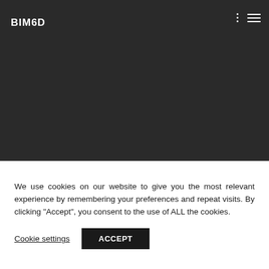BIM6D
We use cookies on our website to give you the most relevant experience by remembering your preferences and repeat visits. By clicking “Accept”, you consent to the use of ALL the cookies.
Cookie settings
ACCEPT